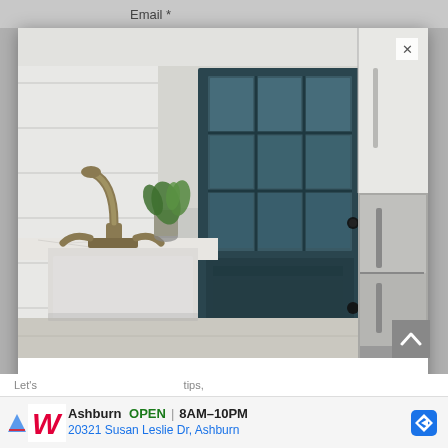Email *
[Figure (photo): Interior kitchen photo showing a dark teal/navy glass-paned door with a grid window pattern, white shiplap walls, a brass/bronze faucet over a farmhouse sink with white marble countertop, a green plant in a vase, and a stainless steel French door refrigerator on the right side]
The Inspired Room
Let's tips,
Ashburn OPEN 8AM–10PM 20321 Susan Leslie Dr, Ashburn